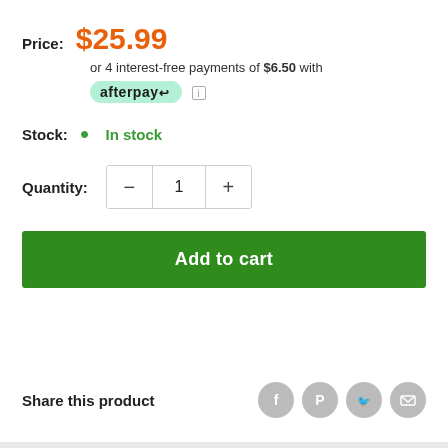Price: $25.99
or 4 interest-free payments of $6.50 with afterpay
Stock: In stock
Quantity: 1
Add to cart
Share this product